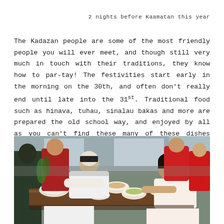2 nights before Kaamatan this year
The Kadazan people are some of the most friendly people you will ever meet, and though still very much in touch with their traditions, they know how to par-tay! The festivities start early in the morning on the 30th, and often don't really end until late into the 31st. Traditional food such as hinava, tuhau, sinalau bakas and more are prepared the old school way, and enjoyed by all as you can't find these many of these dishes commercially!
[Figure (photo): People gathered around a table eating traditional Kadazan food in bowls, including hinava, tuhau, sinalau bakas and other dishes. Multiple people are leaning over the table eating.]